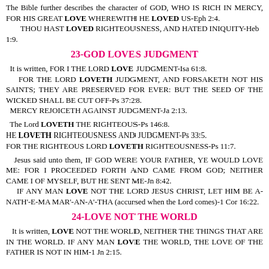The Bible further describes the character of GOD, WHO IS RICH IN MERCY, FOR HIS GREAT LOVE WHEREWITH HE LOVED US-Eph 2:4. THOU HAST LOVED RIGHTEOUSNESS, AND HATED INIQUITY-Heb 1:9.
23-GOD LOVES JUDGMENT
It is written, FOR I THE LORD LOVE JUDGMENT-Isa 61:8. FOR THE LORD LOVETH JUDGMENT, AND FORSAKETH NOT HIS SAINTS; THEY ARE PRESERVED FOR EVER: BUT THE SEED OF THE WICKED SHALL BE CUT OFF-Ps 37:28. MERCY REJOICETH AGAINST JUDGMENT-Ja 2:13.
The Lord LOVETH THE RIGHTEOUS-Ps 146:8. HE LOVETH RIGHTEOUSNESS AND JUDGMENT-Ps 33:5. FOR THE RIGHTEOUS LORD LOVETH RIGHTEOUSNESS-Ps 11:7.
Jesus said unto them, IF GOD WERE YOUR FATHER, YE WOULD LOVE ME: FOR I PROCEEDED FORTH AND CAME FROM GOD; NEITHER CAME I OF MYSELF, BUT HE SENT ME-Jn 8:42. IF ANY MAN LOVE NOT THE LORD JESUS CHRIST, LET HIM BE A-NATH'-E-MA MAR'-AN-A'-THA (accursed when the Lord comes)-1 Cor 16:22.
24-LOVE NOT THE WORLD
It is written, LOVE NOT THE WORLD, NEITHER THE THINGS THAT ARE IN THE WORLD. IF ANY MAN LOVE THE WORLD, THE LOVE OF THE FATHER IS NOT IN HIM-1 Jn 2:15.